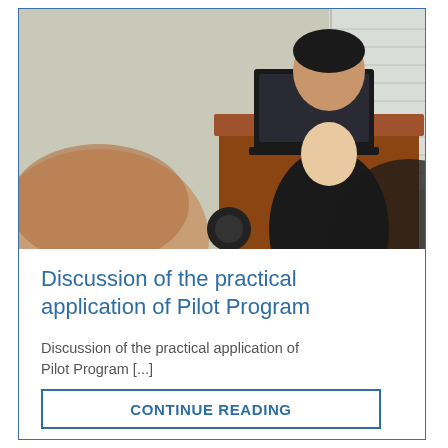[Figure (photo): A woman standing at a wooden podium with a laptop, presenting to an audience. Two audience members are visible from behind in the foreground.]
Discussion of the practical application of Pilot Program
Discussion of the practical application of Pilot Program [...]
CONTINUE READING